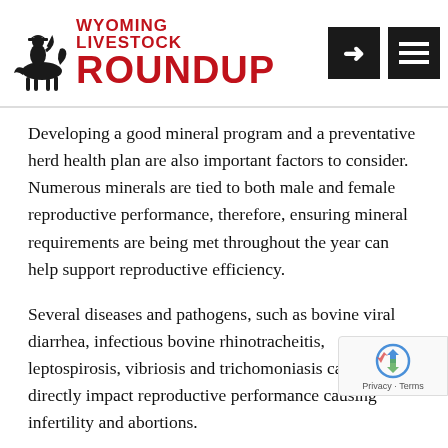Wyoming Livestock Roundup
Developing a good mineral program and a preventative herd health plan are also important factors to consider. Numerous minerals are tied to both male and female reproductive performance, therefore, ensuring mineral requirements are being met throughout the year can help support reproductive efficiency.
Several diseases and pathogens, such as bovine viral diarrhea, infectious bovine rhinotracheitis, leptospirosis, vibriosis and trichomoniasis can also directly impact reproductive performance causing infertility and abortions.
Taking a systems approach to reproduction by